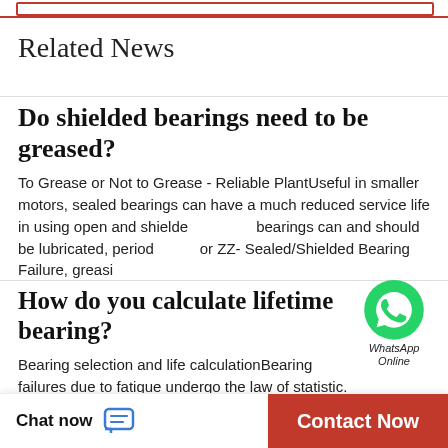Related News
Do shielded bearings need to be greased?
To Grease or Not to Grease - Reliable PlantUseful in smaller motors, sealed bearings can have a much reduced service life in using open and shielded bearings can and should be lubricated, period or ZZ- Sealed/Shielded Bearing Failure, greasing
[Figure (logo): WhatsApp green circle logo with phone icon and text 'WhatsApp Online']
How do you calculate lifetime bearing?
Bearing selection and life calculationBearing failures due to fatigue undergo the law of statistic. That is why during bearing life calculation the probability of failure
Chat now   Contact Now